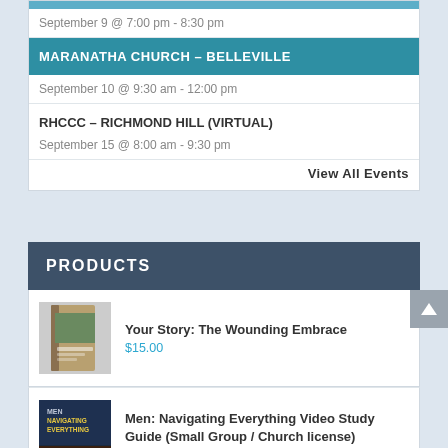September 9 @ 7:00 pm - 8:30 pm
MARANATHA CHURCH – BELLEVILLE
September 10 @ 9:30 am - 12:00 pm
RHCCC – RICHMOND HILL (VIRTUAL)
September 15 @ 8:00 am - 9:30 pm
View All Events
PRODUCTS
[Figure (photo): Book cover for 'Your Story: The Wounding Embrace']
Your Story: The Wounding Embrace
$15.00
[Figure (photo): Book cover for 'Men: Navigating Everything Video Study Guide (Small Group / Church license)']
Men: Navigating Everything Video Study Guide (Small Group / Church license)
$100.00